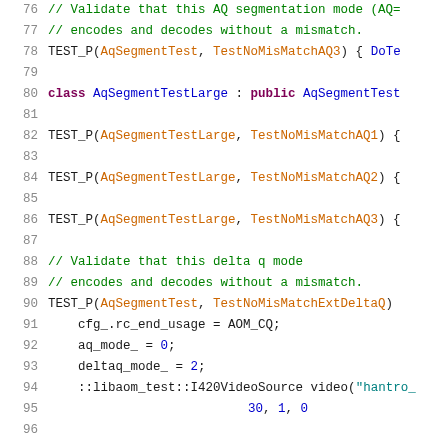Source code listing, lines 76–96, C++ unit test code for AQ segmentation and delta q mode validation.
76: // Validate that this AQ segmentation mode (AQ=
77: // encodes and decodes without a mismatch.
78: TEST_P(AqSegmentTest, TestNoMisMatchAQ3) { DoTe
79: (blank)
80: class AqSegmentTestLarge : public AqSegmentTest
81: (blank)
82: TEST_P(AqSegmentTestLarge, TestNoMisMatchAQ1) {
83: (blank)
84: TEST_P(AqSegmentTestLarge, TestNoMisMatchAQ2) {
85: (blank)
86: TEST_P(AqSegmentTestLarge, TestNoMisMatchAQ3) {
87: (blank)
88: // Validate that this delta q mode
89: // encodes and decodes without a mismatch.
90: TEST_P(AqSegmentTest, TestNoMisMatchExtDeltaQ)
91: cfg_.rc_end_usage = AOM_CQ;
92: aq_mode_ = 0;
93: deltaq_mode_ = 2;
94: ::libaom_test::I420VideoSource video("hantro_
95: 30, 1, 0
96: (blank)